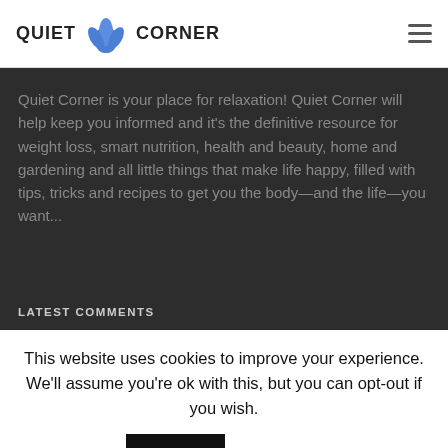QUIET CORNER
Quiet Corner is your place for relaxation! Quiet Corner will help keep you informed and it's the definitive resource for weight loss, smart nutrition, health and beauty, home and gardening and all little things that make life happy, filled with tips, tricks and recipes to get you the body—and the life—you want...
LATEST COMMENTS
This website uses cookies to improve your experience. We'll assume you're ok with this, but you can opt-out if you wish.